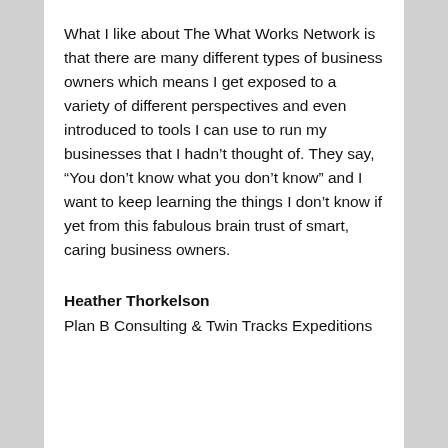What I like about The What Works Network is that there are many different types of business owners which means I get exposed to a variety of different perspectives and even introduced to tools I can use to run my businesses that I hadn't thought of. They say, “You don’t know what you don’t know” and I want to keep learning the things I don’t know if yet from this fabulous brain trust of smart, caring business owners.
Heather Thorkelson
Plan B Consulting & Twin Tracks Expeditions